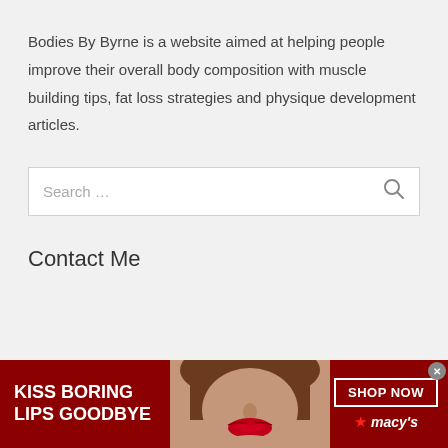Bodies By Byrne is a website aimed at helping people improve their overall body composition with muscle building tips, fat loss strategies and physique development articles.
[Figure (screenshot): Search input box with placeholder text 'Search ...' and a search icon on the right]
Contact Me
[Figure (infographic): Macy's advertisement banner with dark red background showing 'KISS BORING LIPS GOODBYE' on the left, a woman's face with red lips in the center, and 'SHOP NOW' button with Macy's star logo on the right. Close button in top right corner.]